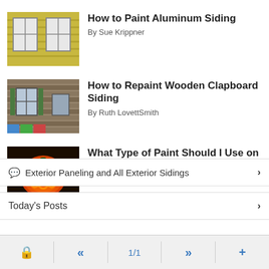[Figure (photo): Yellow aluminum siding with white windows on a house exterior]
How to Paint Aluminum Siding
By Sue Krippner
[Figure (photo): Old weathered wooden clapboard siding with windows and green shutters]
How to Repaint Wooden Clapboard Siding
By Ruth LovettSmith
[Figure (photo): Glowing carved Halloween pumpkin on dark background]
What Type of Paint Should I Use on My Gourd?
By Charity Moore
Exterior Paneling and All Exterior Sidings
ADVERTISEMENT
Today's Posts
1/1